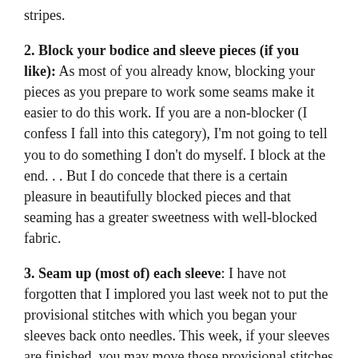stripes.
2. Block your bodice and sleeve pieces (if you like): As most of you already know, blocking your pieces as you prepare to work some seams make it easier to do this work. If you are a non-blocker (I confess I fall into this category), I'm not going to tell you to do something I don't do myself. I block at the end. . . But I do concede that there is a certain pleasure in beautifully blocked pieces and that seaming has a greater sweetness with well-blocked fabric.
3. Seam up (most of) each sleeve: I have not forgotten that I implored you last week not to put the provisional stitches with which you began your sleeves back onto needles. This week, if your sleeves are finished, you may move those provisional stitches back to a circular needle or needles in preparation for knitting your sleeves down to the desired length cuffs.
Because working these stitches will require a certain amount of play in the fabric of your sleeves, we are